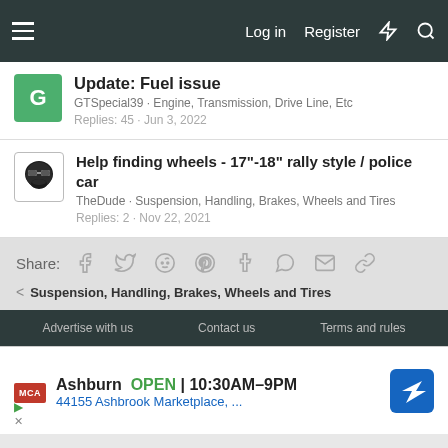Log in  Register
Update: Fuel issue
GTSpecial39 · Engine, Transmission, Drive Line, Etc
Replies: 45 · Jun 3, 2022
Help finding wheels - 17"-18" rally style / police car
TheDude · Suspension, Handling, Brakes, Wheels and Tires
Replies: 2 · Nov 22, 2021
Share:
Suspension, Handling, Brakes, Wheels and Tires
Advertise with us   Contact us   Terms and rules
[Figure (screenshot): Advertisement: MCA store in Ashburn, OPEN 10:30AM-9PM, 44155 Ashbrook Marketplace, ...]